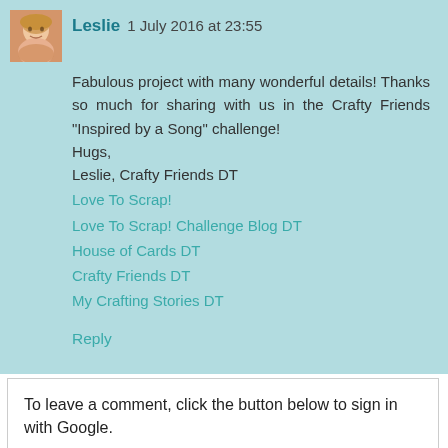[Figure (photo): Avatar photo of Leslie, a woman with blonde hair]
Leslie 1 July 2016 at 23:55
Fabulous project with many wonderful details! Thanks so much for sharing with us in the Crafty Friends "Inspired by a Song" challenge!
Hugs,
Leslie, Crafty Friends DT
Love To Scrap!
Love To Scrap! Challenge Blog DT
House of Cards DT
Crafty Friends DT
My Crafting Stories DT
Reply
To leave a comment, click the button below to sign in with Google.
SIGN IN WITH GOOGLE
Thank you so much for the lovely comments, it means such a lot and they are very much